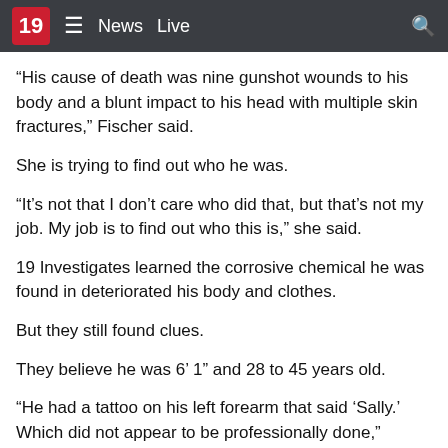19  News  Live
“His cause of death was nine gunshot wounds to his body and a blunt impact to his head with multiple skin fractures,” Fischer said.
She is trying to find out who he was.
“It’s not that I don’t care who did that, but that’s not my job. My job is to find out who this is,” she said.
19 Investigates learned the corrosive chemical he was found in deteriorated his body and clothes.
But they still found clues.
They believe he was 6’ 1” and 28 to 45 years old.
“He had a tattoo on his left forearm that said ‘Sally.’ Which did not appear to be professionally done,” Fischer said.